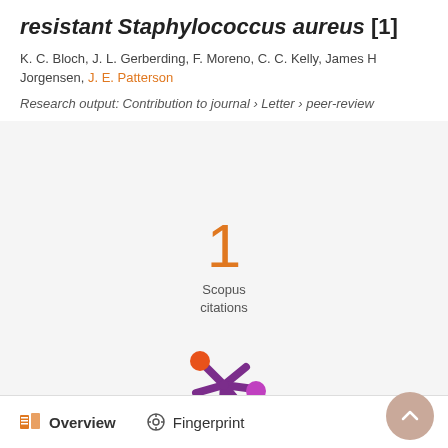resistant Staphylococcus aureus [1]
K. C. Bloch, J. L. Gerberding, F. Moreno, C. C. Kelly, James H Jorgensen, J. E. Patterson
Research output: Contribution to journal › Letter › peer-review
[Figure (infographic): Scopus citations count showing the number 1 in orange, with label 'Scopus citations' below]
[Figure (logo): Altmetric snowflake-style logo with orange and purple colored dots]
Overview   Fingerprint